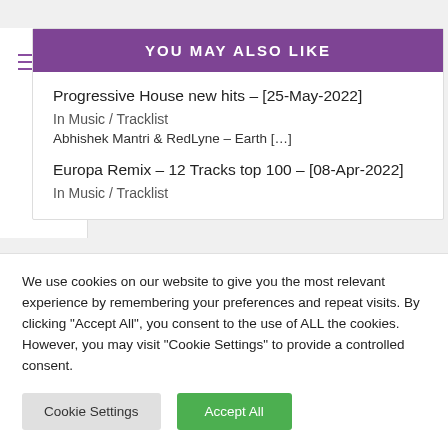YOU MAY ALSO LIKE
Progressive House new hits – [25-May-2022]
In Music / Tracklist
Abhishek Mantri & RedLyne – Earth […]
Europa Remix – 12 Tracks top 100 – [08-Apr-2022]
In Music / Tracklist
We use cookies on our website to give you the most relevant experience by remembering your preferences and repeat visits. By clicking "Accept All", you consent to the use of ALL the cookies. However, you may visit "Cookie Settings" to provide a controlled consent.